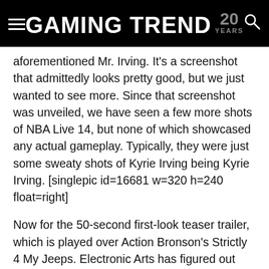GAMING TREND 20 YEARS
aforementioned Mr. Irving. It’s a screenshot that admittedly looks pretty good, but we just wanted to see more. Since that screenshot was unveiled, we have seen a few more shots of NBA Live 14, but none of which showcased any actual gameplay. Typically, they were just some sweaty shots of Kyrie Irving being Kyrie Irving. [singlepic id=16681 w=320 h=240 float=right]
Now for the 50-second first-look teaser trailer, which is played over Action Bronson’s Strictly 4 My Jeeps. Electronic Arts has figured out how to get to my heart, and that is by using Action Bronson whenever possible. For the actual gameplay, though, not much was shown. It begins with a tip-off as the ball heads to Kyrie and he starts to point towards defenders ahead of him. He then casually drives forward as the camera zooms in and out while he handles